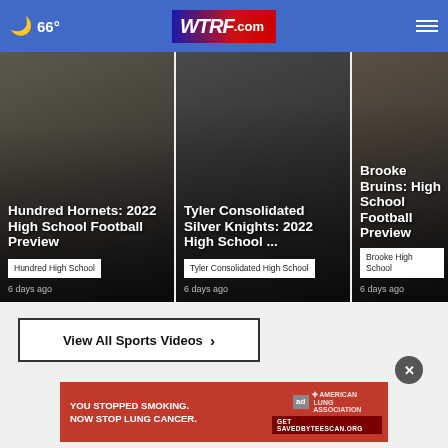66° WTRF.com
[Figure (photo): Hundred Hornets football players in action]
Hundred Hornets: 2022 High School Football Preview
Hundred High School
6 days ago
[Figure (photo): Tyler Consolidated Silver Knights football player]
Tyler Consolidated Silver Knights: 2022 High School ...
Tyler Consolidated High School
6 days ago
[Figure (photo): Brooke Bruins football player]
Brooke Bruins: High School Football Preview
Brooke High School
6 days ago
View All Sports Videos ›
[Figure (photo): Advertisement: YOU STOPPED SMOKING. NOW STOP LUNG CANCER. American Lung Association. Get SAVEDBYTEESCAN.ORG]